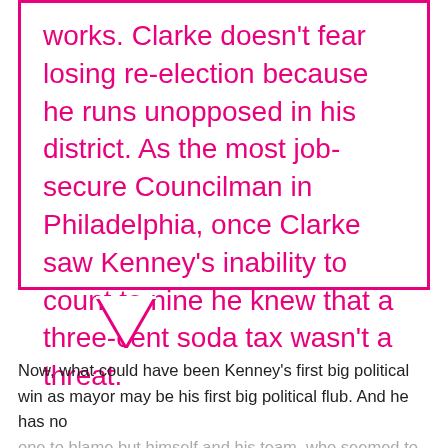works. Clarke doesn't fear losing re-election because he runs unopposed in his district. As the most job-secure Councilman in Philadelphia, once Clarke saw Kenney's inability to count to nine he knew that a three-cent soda tax wasn't a threat.
Now, what could have been Kenney's first big political win as mayor may be his first big political flub. And he has no one to blame but himself and his team, who seemed to